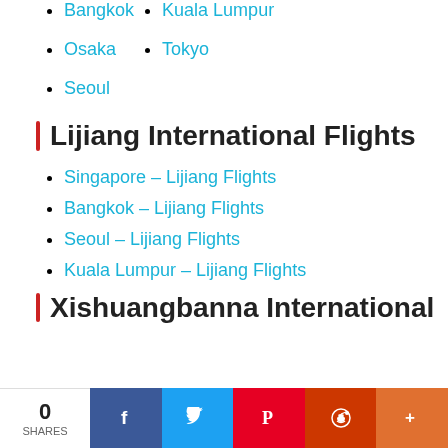Bangkok
Kuala Lumpur
Osaka
Tokyo
Seoul
Lijiang International Flights
Singapore – Lijiang Flights
Bangkok – Lijiang Flights
Seoul – Lijiang Flights
Kuala Lumpur – Lijiang Flights
Xishuangbanna International
0 SHARES